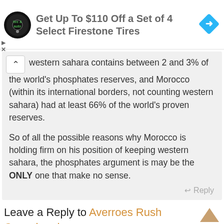[Figure (logo): Tire and auto advertisement banner with circular logo, text 'Get Up To $110 Off a Set of 4 Select Firestone Tires', and blue diamond navigation icon]
western sahara contains between 2 and 3% of the world's phosphates reserves, and Morocco (within its international borders, not counting western sahara) had at least 66% of the world's proven reserves.
So of all the possible reasons why Morocco is holding firm on his position of keeping western sahara, the phosphates argument is may be the ONLY one that make no sense.
Reply
Leave a Reply to Averroes Rush
Cancel reply